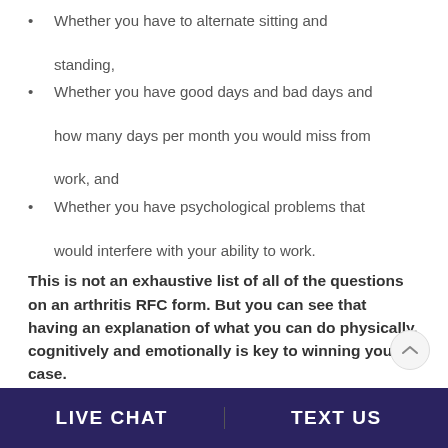Whether you have to alternate sitting and standing,
Whether you have good days and bad days and how many days per month you would miss from work, and
Whether you have psychological problems that would interfere with your ability to work.
This is not an exhaustive list of all of the questions on an arthritis RFC form. But you can see that having an explanation of what you can do physically, cognitively and emotionally is key to winning your case.
Many SSA cases are lost because the
LIVE CHAT   TEXT US